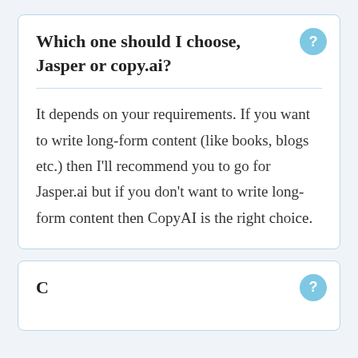Which one should I choose, Jasper or copy.ai?
It depends on your requirements. If you want to write long-form content (like books, blogs etc.) then I'll recommend you to go for Jasper.ai but if you don't want to write long-form content then CopyAI is the right choice.
C...